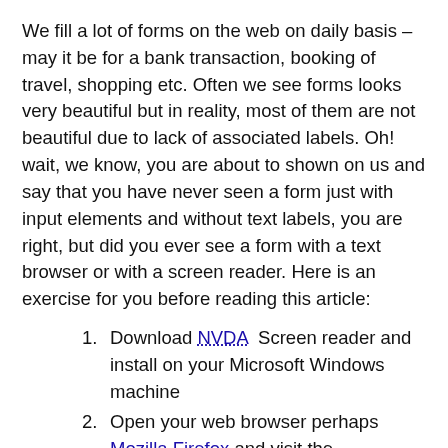We fill a lot of forms on the web on daily basis – may it be for a bank transaction, booking of travel, shopping etc. Often we see forms looks very beautiful but in reality, most of them are not beautiful due to lack of associated labels. Oh! wait, we know, you are about to shown on us and say that you have never seen a form just with input elements and without text labels, you are right, but did you ever see a form with a text browser or with a screen reader. Here is an exercise for you before reading this article:
Download NVDA Screen reader and install on your Microsoft Windows machine
Open your web browser perhaps Mozilla Firefox and visit the APSRTC's New Registration Form External Website and you should see a beautiful form like